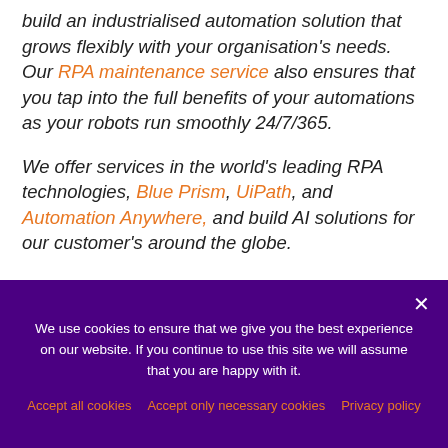build an industrialised automation solution that grows flexibly with your organisation's needs. Our RPA maintenance service also ensures that you tap into the full benefits of your automations as your robots run smoothly 24/7/365.
We offer services in the world's leading RPA technologies, Blue Prism, UiPath, and Automation Anywhere, and build AI solutions for our customer's around the globe.
We use cookies to ensure that we give you the best experience on our website. If you continue to use this site we will assume that you are happy with it.
Accept all cookies   Accept only necessary cookies   Privacy policy